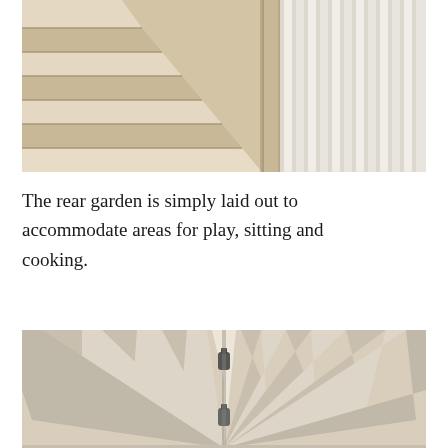[Figure (photo): Interior photograph of a light wood staircase with vertical white painted baluster railings, viewed from close angle showing treads and risers in pale natural timber]
The rear garden is simply laid out to accommodate areas for play, sitting and cooking.
[Figure (photo): Interior photograph looking up at a pale wood plank ceiling with radiating beam structure and two track spotlights, warm light tones]